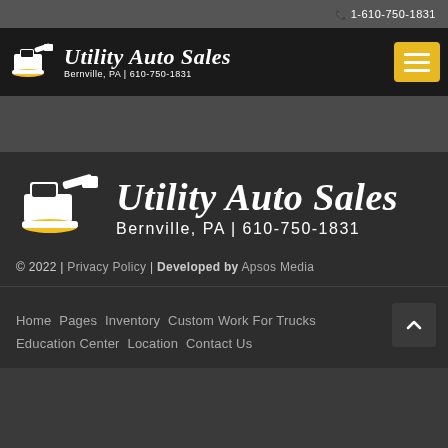1-610-750-1831
[Figure (logo): Utility Auto Sales logo with excavator/machinery icon in white and yellow, with text 'Utility Auto Sales' in italic script and 'Bernville, PA | 610-750-1831' below]
[Figure (logo): Large Utility Auto Sales logo with excavator/machinery icon in white and yellow, with text 'Utility Auto Sales' in large italic script and 'Bernville, PA | 610-750-1831' below]
© 2022 | Privacy Policy | Developed by Apsos Media
Home
Pages
Inventory
Custom Work For Trucks
Education Center
Location
Contact Us